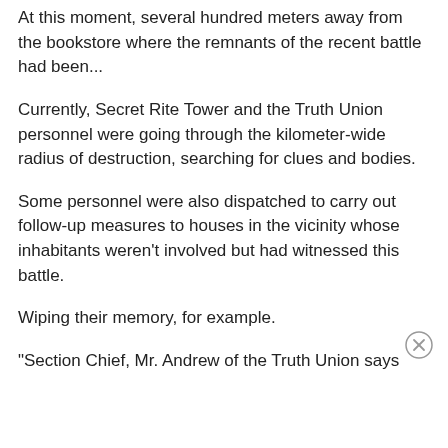At this moment, several hundred meters away from the bookstore where the remnants of the recent battle had been...
Currently, Secret Rite Tower and the Truth Union personnel were going through the kilometer-wide radius of destruction, searching for clues and bodies.
Some personnel were also dispatched to carry out follow-up measures to houses in the vicinity whose inhabitants weren't involved but had witnessed this battle.
Wiping their memory, for example.
"Section Chief, Mr. Andrew of the Truth Union says